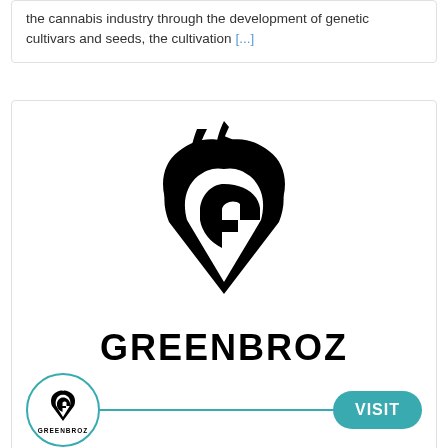the cannabis industry through the development of genetic cultivars and seeds, the cultivation [...]
[Figure (logo): GreenBroz logo: stylized G shape with flame above, forming a shield/heart outline in black, above the word GREENBROZ in bold black lettering]
[Figure (logo): GreenBroz circular badge logo with teal border, small G icon and GREENBROZ text inside circle, with teal horizontal line and teal VISIT button]
INDUSTRY BORN HARVEST SYSTEMS More than a solution, a growth plan. We manufacture industry-specific post-harvest systems that elevate quality above [...]